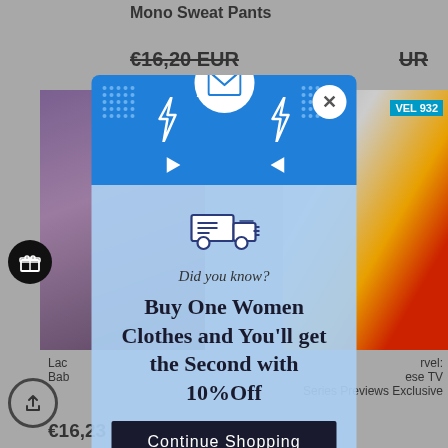Mono Sweat Pants
Leopard Waterfall Collar Cardigan
€16,20 EUR
EUR
[Figure (screenshot): Background shopping page with product thumbnails, a woman in purple dress on left, Spider-Man Marvel toy on right, with gift and share icons]
Did you know?
Buy One Women Clothes and You'll get the Second with 10%Off
Continue Shopping
€16,23 EUR
Marvel: These TV Series Previews Exclusive